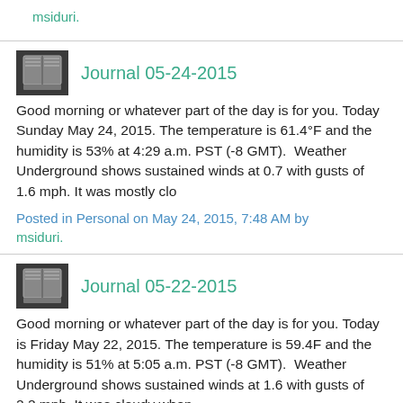msiduri.
Journal 05-24-2015
Good morning or whatever part of the day is for you. Today Sunday May 24, 2015. The temperature is 61.4°F and the humidity is 53% at 4:29 a.m. PST (-8 GMT).  Weather Underground shows sustained winds at 0.7 with gusts of 1.6 mph. It was mostly clo
Posted in Personal on May 24, 2015, 7:48 AM by msiduri.
Journal 05-22-2015
Good morning or whatever part of the day is for you. Today is Friday May 22, 2015. The temperature is 59.4F and the humidity is 51% at 5:05 a.m. PST (-8 GMT).  Weather Underground shows sustained winds at 1.6 with gusts of 2.2 mph. It was cloudy when
Posted in Personal on May 22, 2015, 8:08 AM by